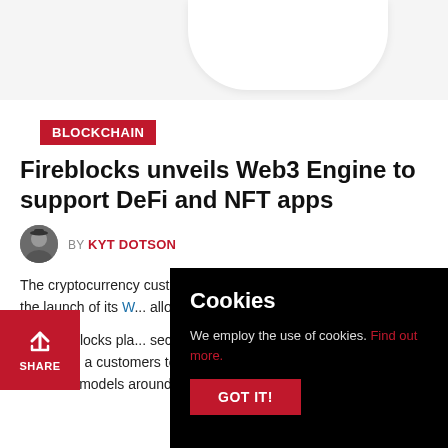[Figure (illustration): White curved shape on light gray background, partial hero image at top of article page]
BLOCKCHAIN
Fireblocks unveils Web3 Engine to support DeFi and NFT apps
BY KYT DOTSON
The cryptocurrency custody firm Fireblocks Inc. today announced the launch of its W... allow companies t... tokens, decentrali...
The Fireblocks pla... securely accept an... rrencies a... t, videoga... customers to protect their assets while building business models around them.
Cookies
We employ the use of cookies. Find out more.
GOT IT!